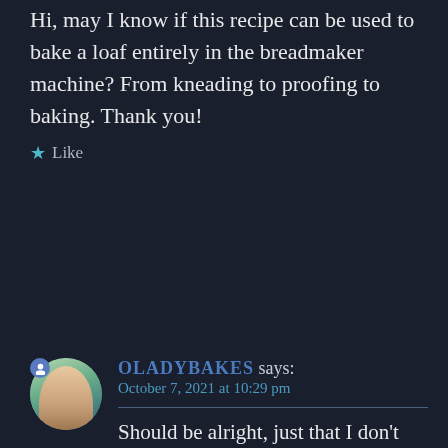Hi, may I know if this recipe can be used to bake a loaf entirely in the breadmaker machine? From kneading to proofing to baking. Thank you!
★ Like
OLADYBAKES says: October 7, 2021 at 10:29 pm
Should be alright, just that I don't have a bread maker.
Advertisements